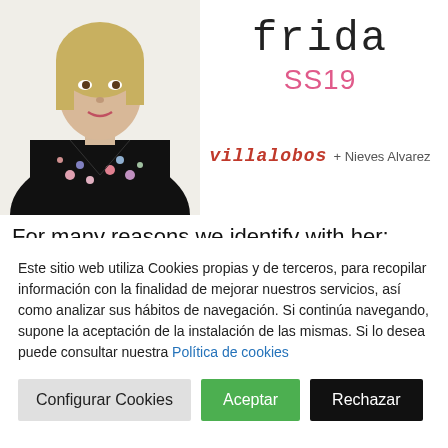[Figure (photo): Photo of a young woman with short blonde hair wearing a black floral sleeveless top, positioned on the left side of the page]
frida
SS19
[Figure (logo): Villalobo + Nieves Alvarez brand logo text in red cursive font with regular text]
For many reasons we identify with her; great personality, courage, true to herself, she empowered everything that made her different and authentic. A
Este sitio web utiliza Cookies propias y de terceros, para recopilar información con la finalidad de mejorar nuestros servicios, así como analizar sus hábitos de navegación. Si continúa navegando, supone la aceptación de la instalación de las mismas. Si lo desea puede consultar nuestra Política de cookies
Configurar Cookies | Aceptar | Rechazar